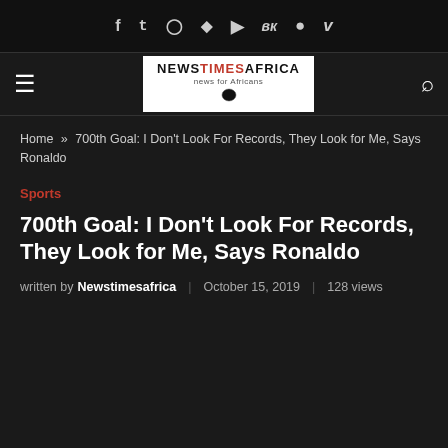Social icons: f  t  instagram  pinterest  youtube  vk  snapchat  vimeo
[Figure (logo): NewstimesAfrica logo — white background box with bold text NEWSTIMESAFRICA and Africa continent icon]
Home » 700th Goal: I Don't Look For Records, They Look for Me, Says Ronaldo
Sports
700th Goal: I Don't Look For Records, They Look for Me, Says Ronaldo
written by Newstimesafrica  |  October 15, 2019  |  128 views